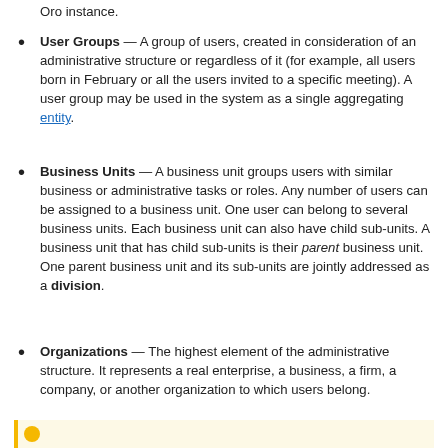Oro instance.
User Groups — A group of users, created in consideration of an administrative structure or regardless of it (for example, all users born in February or all the users invited to a specific meeting). A user group may be used in the system as a single aggregating entity.
Business Units — A business unit groups users with similar business or administrative tasks or roles. Any number of users can be assigned to a business unit. One user can belong to several business units. Each business unit can also have child sub-units. A business unit that has child sub-units is their parent business unit. One parent business unit and its sub-units are jointly addressed as a division.
Organizations — The highest element of the administrative structure. It represents a real enterprise, a business, a firm, a company, or another organization to which users belong.